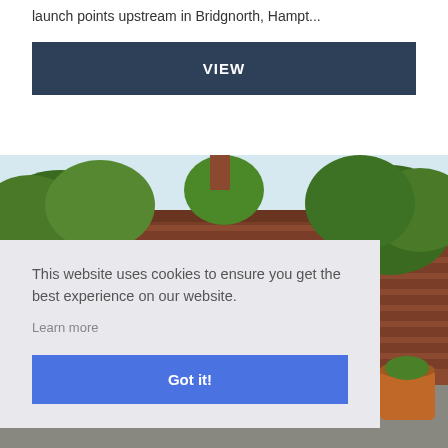launch points upstream in Bridgnorth, Hampt...
VIEW
[Figure (photo): Outdoor scene showing a brick wall with an arched gate/doorway surrounded by green trees and plants. A yellow kayak or canoe is partially visible near the arch. Terra cotta pots with plants visible on right side.]
This website uses cookies to ensure you get the best experience on our website.
Learn more
Got it!